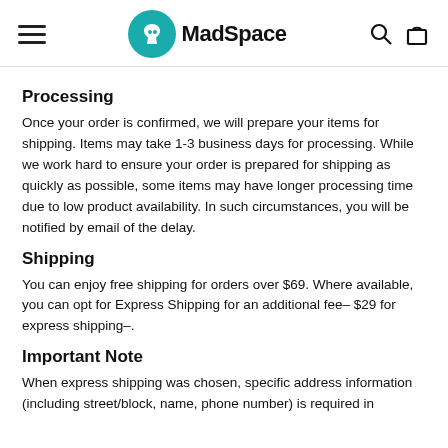MadSpace
Processing
Once your order is confirmed, we will prepare your items for shipping. Items may take 1-3 business days for processing. While we work hard to ensure your order is prepared for shipping as quickly as possible, some items may have longer processing time due to low product availability. In such circumstances, you will be notified by email of the delay.
Shipping
You can enjoy free shipping for orders over $69. Where available, you can opt for Express Shipping for an additional fee– $29 for express shipping–.
Important Note
When express shipping was chosen, specific address information (including street/block, name, phone number) is required in